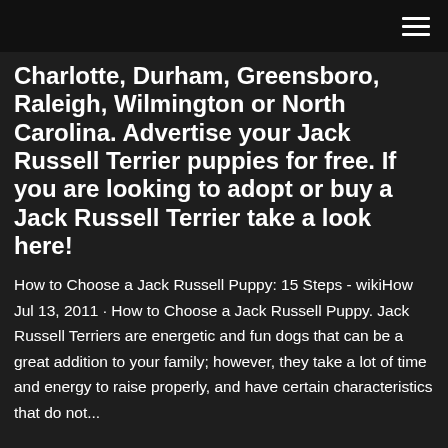[hamburger menu icon]
Charlotte, Durham, Greensboro, Raleigh, Wilmington or North Carolina. Advertise your Jack Russell Terrier puppies for free. If you are looking to adopt or buy a Jack Russell Terrier take a look here!
How to Choose a Jack Russell Puppy: 15 Steps - wikiHow Jul 13, 2011 · How to Choose a Jack Russell Puppy. Jack Russell Terriers are energetic and fun dogs that can be a great addition to your family; however, they take a lot of time and energy to raise properly, and have certain characteristics that do not...
24-12-2018. Looking for good homes for my jack russell